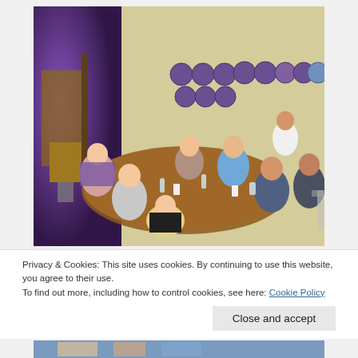[Figure (photo): Group of women sitting around a round table in a room with decorative circular plaques on the wall and a stage with purple lighting visible in the background.]
Privacy & Cookies: This site uses cookies. By continuing to use this website, you agree to their use.
To find out more, including how to control cookies, see here: Cookie Policy
[Figure (photo): Partial view of another photo at the bottom of the page, partially cropped.]